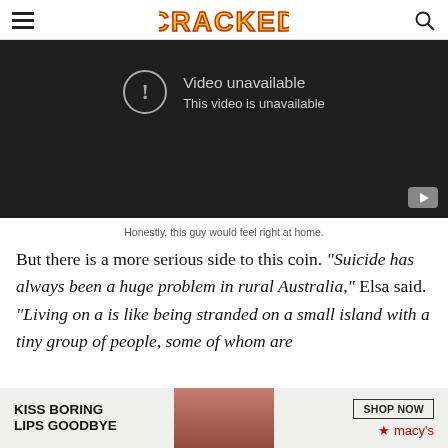CRACKED
[Figure (screenshot): Video unavailable placeholder with dark background showing 'Video unavailable / This video is unavailable' message with exclamation icon, and YouTube button at bottom right]
Honestly, this guy would feel right at home.
But there is a more serious side to this coin. "Suicide has always been a huge problem in rural Australia," Elsa said. "Living on a is like being stranded on a small island with a tiny group of people, some of whom are
[Figure (photo): Macy's advertisement banner: 'KISS BORING LIPS GOODBYE' with woman's face and red lips, SHOP NOW button and Macy's star logo]